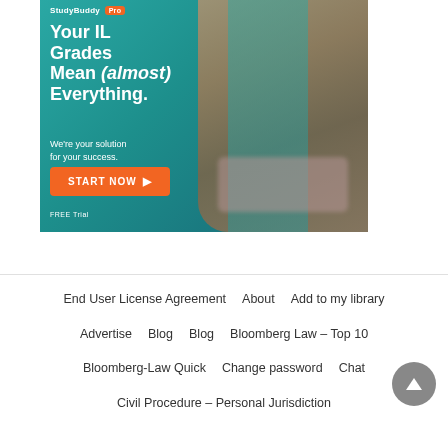[Figure (illustration): StudyBuddy Pro advertisement banner with teal background, woman student with laptop, headline 'Your IL Grades Mean (almost) Everything.', subtext 'We're your solution for your success.', orange START NOW button, and FREE Trial label.]
End User License Agreement   About   Add to my library   Advertise   Blog   Blog   Bloomberg Law – Top 10   Bloomberg-Law Quick   Change password   Chat   Civil Procedure – Personal Jurisdiction